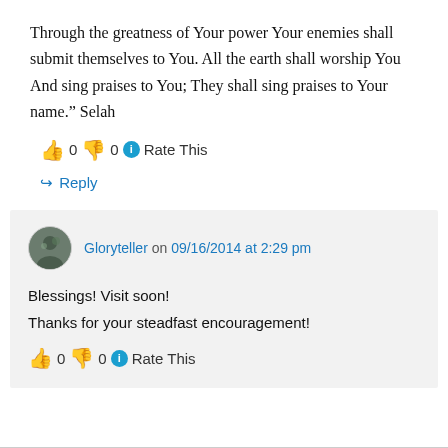Through the greatness of Your power Your enemies shall submit themselves to You. All the earth shall worship You And sing praises to You; They shall sing praises to Your name.” Selah
👍 0 👎 0 ℹ Rate This
↪ Reply
Gloryteller on 09/16/2014 at 2:29 pm
Blessings! Visit soon!
Thanks for your steadfast encouragement!
👍 0 👎 0 ℹ Rate This